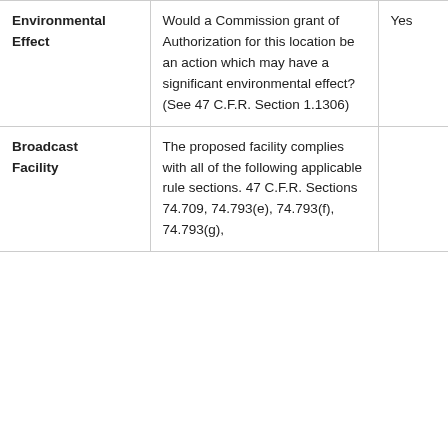| Environmental Effect | Would a Commission grant of Authorization for this location be an action which may have a significant environmental effect? (See 47 C.F.R. Section 1.1306) | Yes |
| Broadcast Facility | The proposed facility complies with all of the following applicable rule sections. 47 C.F.R. Sections 74.709, 74.793(e), 74.793(f), 74.793(g), |  |